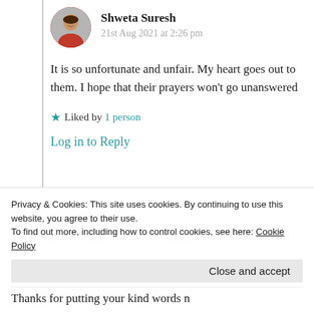[Figure (photo): Circular avatar photo of Shweta Suresh, a woman in a red outfit with greenery in background]
Shweta Suresh
21st Aug 2021 at 2:26 pm
It is so unfortunate and unfair. My heart goes out to them. I hope that their prayers won't go unanswered
★ Liked by 1 person
Log in to Reply
Privacy & Cookies: This site uses cookies. By continuing to use this website, you agree to their use.
To find out more, including how to control cookies, see here: Cookie Policy
Close and accept
Thanks for putting your kind words n